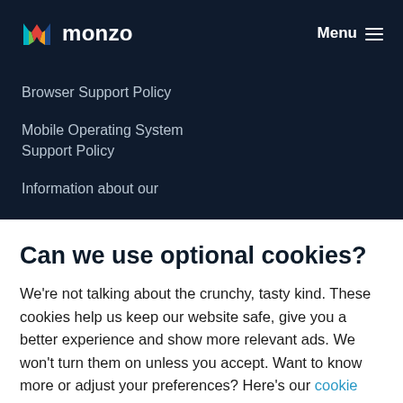monzo  Menu
Browser Support Policy
Mobile Operating System Support Policy
Information about our
Can we use optional cookies?
We're not talking about the crunchy, tasty kind. These cookies help us keep our website safe, give you a better experience and show more relevant ads. We won't turn them on unless you accept. Want to know more or adjust your preferences? Here's our cookie notice.
Accept  Decline